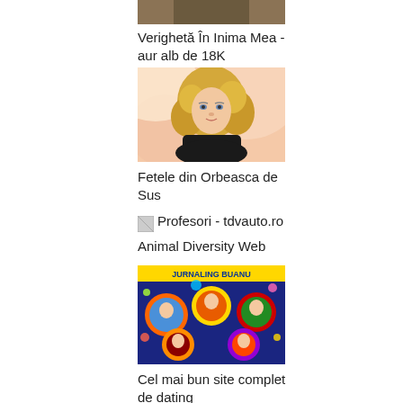[Figure (photo): Top cropped photo — partial face/hair visible]
Verighetă În Inima Mea - aur alb de 18K
[Figure (photo): Young blonde woman with curly hair wearing black top]
Fetele din Orbeasca de Sus
[Figure (photo): Small icon image for Profesori - tdvauto.ro]
Animal Diversity Web
[Figure (photo): Colorful TV show graphic with circular frames containing people, text JURNALING BUANU at top]
Cel mai bun site complet de dating